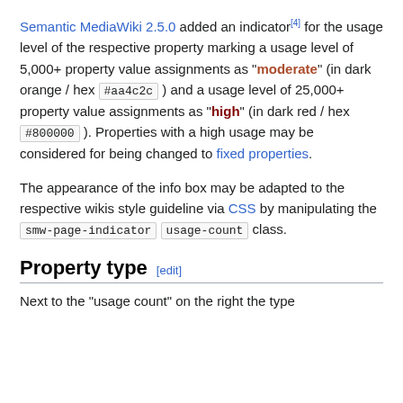Semantic MediaWiki 2.5.0 added an indicator[4] for the usage level of the respective property marking a usage level of 5,000+ property value assignments as "moderate" (in dark orange / hex #aa4c2c ) and a usage level of 25,000+ property value assignments as "high" (in dark red / hex #800000 ). Properties with a high usage may be considered for being changed to fixed properties.
The appearance of the info box may be adapted to the respective wikis style guideline via CSS by manipulating the smw-page-indicator usage-count class.
Property type [edit]
Next to the "usage count" on the right the type